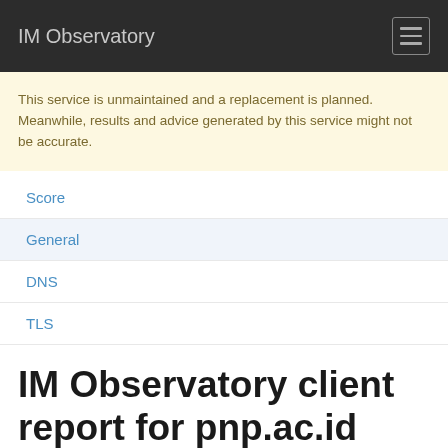IM Observatory
This service is unmaintained and a replacement is planned. Meanwhile, results and advice generated by this service might not be accurate.
Score
General
DNS
TLS
IM Observatory client report for pnp.ac.id
Test started 2022-06-11 09:32:36 UTC 3 months ago.